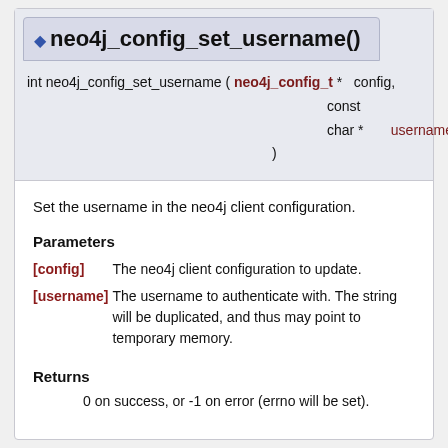neo4j_config_set_username()
int neo4j_config_set_username ( neo4j_config_t * config, const char * username )
Set the username in the neo4j client configuration.
Parameters
[config] The neo4j client configuration to update.
[username] The username to authenticate with. The string will be duplicated, and thus may point to temporary memory.
Returns
0 on success, or -1 on error (errno will be set).